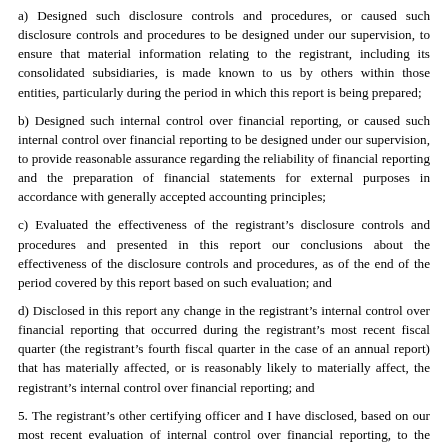a) Designed such disclosure controls and procedures, or caused such disclosure controls and procedures to be designed under our supervision, to ensure that material information relating to the registrant, including its consolidated subsidiaries, is made known to us by others within those entities, particularly during the period in which this report is being prepared;
b) Designed such internal control over financial reporting, or caused such internal control over financial reporting to be designed under our supervision, to provide reasonable assurance regarding the reliability of financial reporting and the preparation of financial statements for external purposes in accordance with generally accepted accounting principles;
c) Evaluated the effectiveness of the registrant’s disclosure controls and procedures and presented in this report our conclusions about the effectiveness of the disclosure controls and procedures, as of the end of the period covered by this report based on such evaluation; and
d) Disclosed in this report any change in the registrant’s internal control over financial reporting that occurred during the registrant’s most recent fiscal quarter (the registrant’s fourth fiscal quarter in the case of an annual report) that has materially affected, or is reasonably likely to materially affect, the registrant’s internal control over financial reporting; and
5. The registrant’s other certifying officer and I have disclosed, based on our most recent evaluation of internal control over financial reporting, to the registrant’s auditors and the audit committee of registrant’s board of directors (or persons performing the equivalent function):
a) All significant deficiencies and material weaknesses in the design or operation